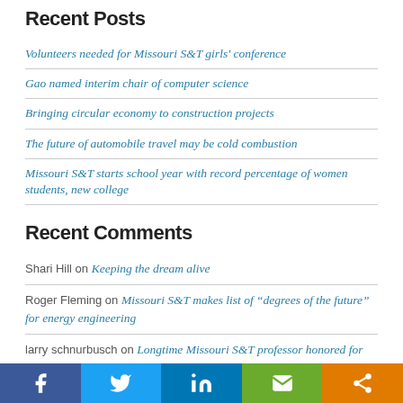Recent Posts
Volunteers needed for Missouri S&T girls' conference
Gao named interim chair of computer science
Bringing circular economy to construction projects
The future of automobile travel may be cold combustion
Missouri S&T starts school year with record percentage of women students, new college
Recent Comments
Shari Hill on Keeping the dream alive
Roger Fleming on Missouri S&T makes list of “degrees of the future” for energy engineering
larry schnurbusch on Longtime Missouri S&T professor honored for pioneering work in electromagnetic compatibility
David G. Sizemore on Longtime Missouri S&T professor honored for